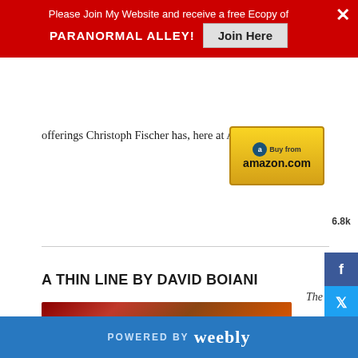Please Join My Website and receive a free Ecopy of PARANORMAL ALLEY! Join Here
offerings Christoph Fischer has, here at Amazon.
A THIN LINE BY DAVID BOIANI
12/7/2016
0 COMMENTS
[Figure (illustration): Four gold stars rating image]
The
POWERED BY weebly